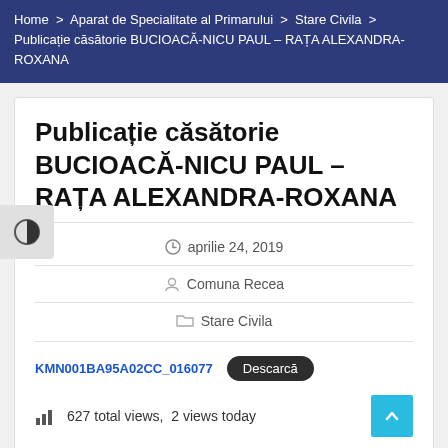Home > Aparat de Specialitate al Primarului > Stare Civila > Publicație căsătorie BUCIOACĂ-NICU PAUL – RAȚA ALEXANDRA-ROXANA
Publicație căsătorie BUCIOACĂ-NICU PAUL – RAȚA ALEXANDRA-ROXANA
aprilie 24, 2019
Comuna Recea
Stare Civila
KMN001BA95A02CC_016077   Descarcă
627 total views,  2 views today